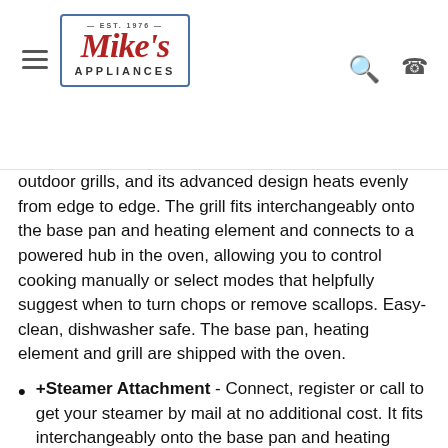Mike's Appliances
outdoor grills, and its advanced design heats evenly from edge to edge. The grill fits interchangeably onto the base pan and heating element and connects to a powered hub in the oven, allowing you to control cooking manually or select modes that helpfully suggest when to turn chops or remove scallops. Easy-clean, dishwasher safe. The base pan, heating element and grill are shipped with the oven.
+Steamer Attachment - Connect, register or call to get your steamer by mail at no additional cost. It fits interchangeably onto the base pan and heating element and connects to a powered hub in your oven, enabling control through the oven's display so you can precisely steam-cook vegetables, entrees or even a complete dinner for four of salmon, potatoes and asparagus. The attachment can also be used with the Steam Assist mode to create a humid cooking environment ideal for baked goods, breads and roasts. Easy-clean, dishwasher safe.
+Baking Stone Attachment - Connect, register or call to